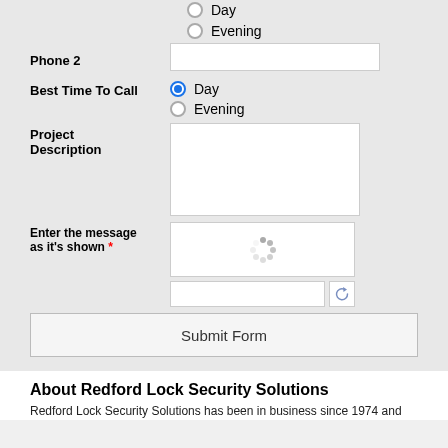Day
Evening
Phone 2
Best Time To Call
Day
Evening
Project Description
Enter the message as it's shown *
Submit Form
About Redford Lock Security Solutions
Redford Lock Security Solutions has been in business since 1974 and